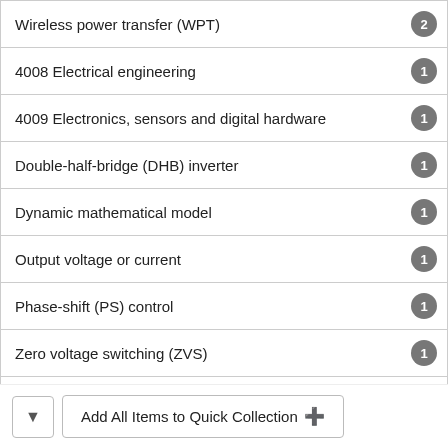Wireless power transfer (WPT)
4008 Electrical engineering
4009 Electronics, sensors and digital hardware
Double-half-bridge (DHB) inverter
Dynamic mathematical model
Output voltage or current
Phase-shift (PS) control
Zero voltage switching (ZVS)
Show More
Add All Items to Quick Collection